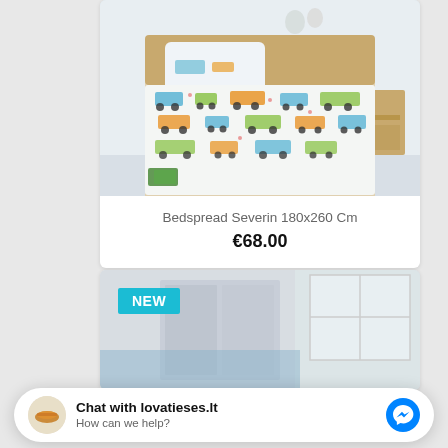[Figure (photo): Photo of a children's bed with a colorful cartoon vehicle/truck patterned bedspread, wooden headboard and nightstand, white background room]
Bedspread Severin 180x260 Cm
€68.00
[Figure (photo): Partial photo of a second product listing with a NEW badge, showing a grey/blue room scene, partially visible]
Chat with lovatieses.lt
How can we help?